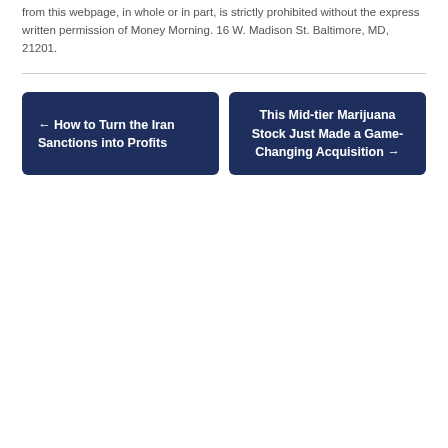from this webpage, in whole or in part, is strictly prohibited without the express written permission of Money Morning. 16 W. Madison St. Baltimore, MD, 21201.
← How to Turn the Iran Sanctions into Profits
This Mid-tier Marijuana Stock Just Made a Game-Changing Acquisition →